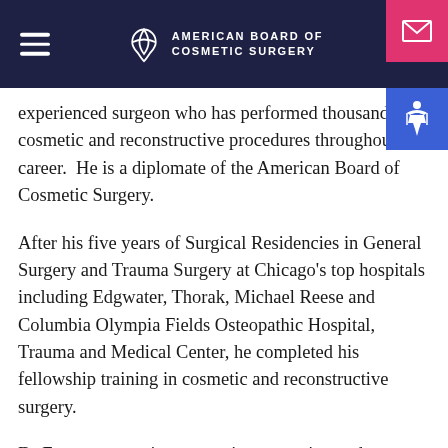AMERICAN BOARD OF COSMETIC SURGERY
experienced surgeon who has performed thousands of cosmetic and reconstructive procedures throughout his career. He is a diplomate of the American Board of Cosmetic Surgery.
After his five years of Surgical Residencies in General Surgery and Trauma Surgery at Chicago's top hospitals including Edgwater, Thorak, Michael Reese and Columbia Olympia Fields Osteopathic Hospital, Trauma and Medical Center, he completed his fellowship training in cosmetic and reconstructive surgery.
Dr Forouzanpour is compassionate, caring and promises not to make you feel like you are